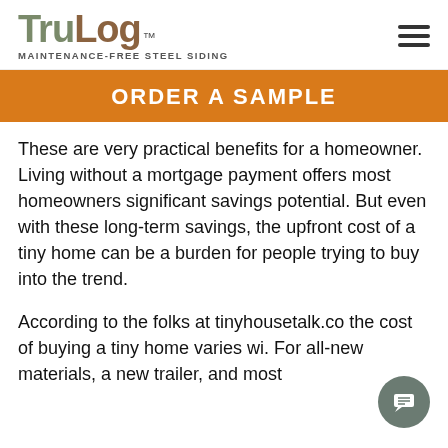[Figure (logo): TruLog logo with tagline 'MAINTENANCE-FREE STEEL SIDING']
ORDER A SAMPLE
These are very practical benefits for a homeowner. Living without a mortgage payment offers most homeowners significant savings potential. But even with these long-term savings, the upfront cost of a tiny home can be a burden for people trying to buy into the trend.
According to the folks at tinyhousetalk.co the cost of buying a tiny home varies wi. For all-new materials, a new trailer, and most